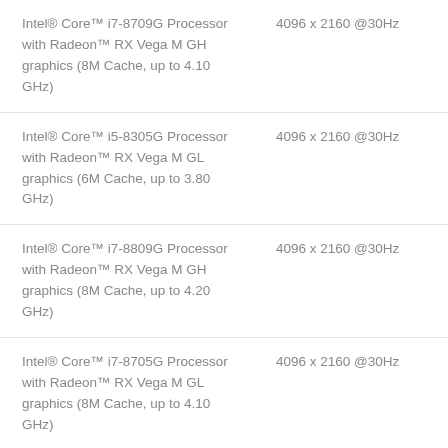| Processor | Resolution |
| --- | --- |
| Intel® Core™ i7-8709G Processor with Radeon™ RX Vega M GH graphics (8M Cache, up to 4.10 GHz) | 4096 x 2160 @30Hz |
| Intel® Core™ i5-8305G Processor with Radeon™ RX Vega M GL graphics (6M Cache, up to 3.80 GHz) | 4096 x 2160 @30Hz |
| Intel® Core™ i7-8809G Processor with Radeon™ RX Vega M GH graphics (8M Cache, up to 4.20 GHz) | 4096 x 2160 @30Hz |
| Intel® Core™ i7-8705G Processor with Radeon™ RX Vega M GL graphics (8M Cache, up to 4.10 GHz) | 4096 x 2160 @30Hz |
| Intel® Core™ i7-8706G | 4096 x 2160 @30Hz |